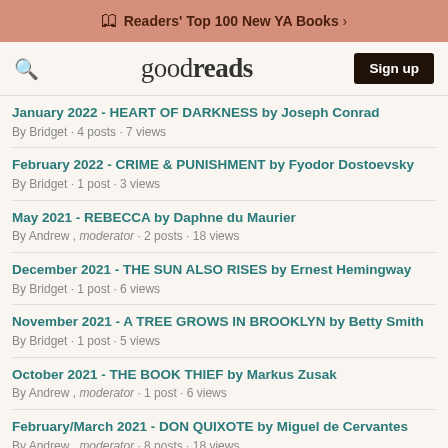Readers' Top 100 New YA Books >
goodreads  Sign up
January 2022 - HEART OF DARKNESS by Joseph Conrad
By Bridget · 4 posts · 7 views
February 2022 - CRIME & PUNISHMENT by Fyodor Dostoevsky
By Bridget · 1 post · 3 views
May 2021 - REBECCA by Daphne du Maurier
By Andrew , moderator · 2 posts · 18 views
December 2021 - THE SUN ALSO RISES by Ernest Hemingway
By Bridget · 1 post · 6 views
November 2021 - A TREE GROWS IN BROOKLYN by Betty Smith
By Bridget · 1 post · 5 views
October 2021 - THE BOOK THIEF by Markus Zusak
By Andrew , moderator · 1 post · 6 views
February/March 2021 - DON QUIXOTE by Miguel de Cervantes
By Andrew , moderator · 8 posts · 18 views
August 2021 - GULLIVER'S TRAVELS by Jonathan Swift
By Andrew , moderator · 1 post · 8 views